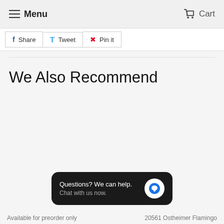Menu   Cart
Share  Tweet  Pin it
We Also Recommend
Questions? We can help. Chat with us now.
Available for preorder only   20561 Ostheimer Flamingo